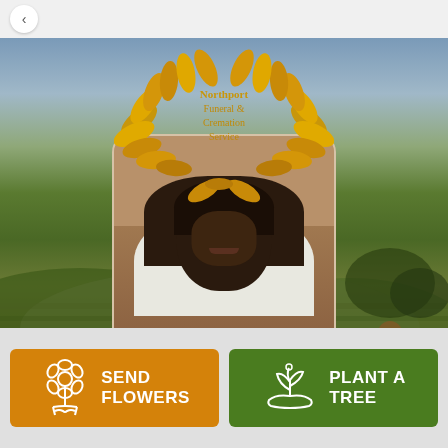[Figure (logo): Northport Funeral & Cremation Service gold laurel wreath logo with green field landscape background]
[Figure (photo): Portrait photo of a woman in a white top, smiling, seated indoors]
SEND FLOWERS
PLANT A TREE